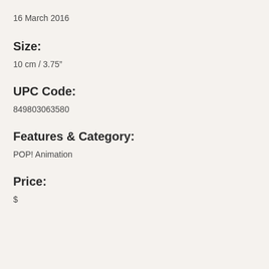16 March 2016
Size:
10 cm / 3.75"
UPC Code:
849803063580
Features & Category:
POP! Animation
Price:
$